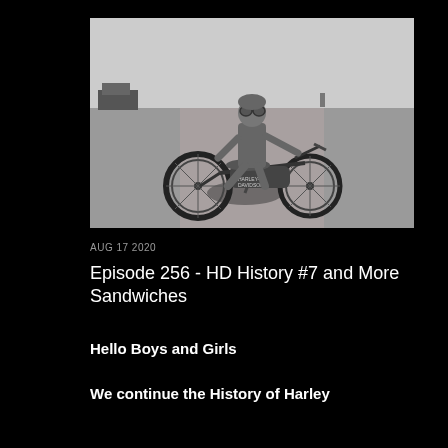[Figure (photo): Black and white historical photograph of a person wearing goggles sitting on a Harley-Davidson motorcycle on a dirt road. Other vehicles and people are visible in the background.]
AUG 17 2020
Episode 256 - HD History #7 and More Sandwiches
Hello Boys and Girls
We continue the History of Harley